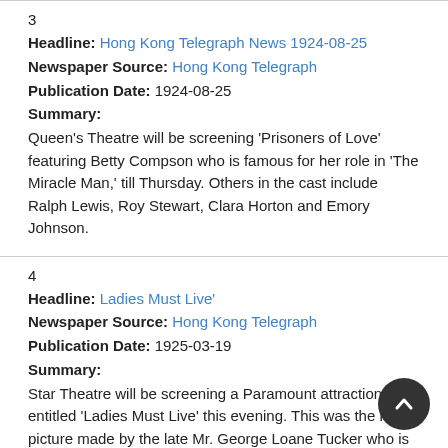3
Headline: Hong Kong Telegraph News 1924-08-25
Newspaper Source: Hong Kong Telegraph
Publication Date: 1924-08-25
Summary:
Queen's Theatre will be screening 'Prisoners of Love' featuring Betty Compson who is famous for her role in 'The Miracle Man,' till Thursday. Others in the cast include Ralph Lewis, Roy Stewart, Clara Horton and Emory Johnson.
4
Headline: Ladies Must Live'
Newspaper Source: Hong Kong Telegraph
Publication Date: 1925-03-19
Summary:
Star Theatre will be screening a Paramount attraction entitled 'Ladies Must Live' this evening. This was the last picture made by the late Mr. George Loane Tucker who is famous for being the maker of 'The Miracle Man.'